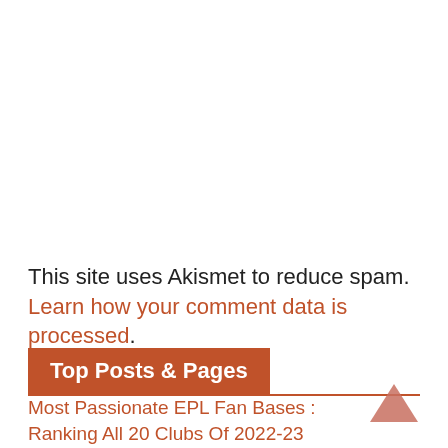This site uses Akismet to reduce spam. Learn how your comment data is processed.
Top Posts & Pages
Most Passionate EPL Fan Bases : Ranking All 20 Clubs Of 2022-23
Ranked : Premier League Clubs With The Most Debts